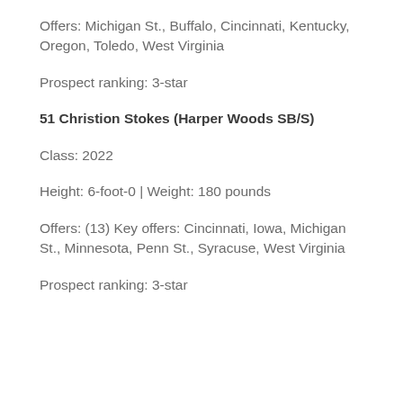Offers: Michigan St., Buffalo, Cincinnati, Kentucky, Oregon, Toledo, West Virginia
Prospect ranking: 3-star
51 Christion Stokes (Harper Woods SB/S)
Class: 2022
Height: 6-foot-0 | Weight: 180 pounds
Offers: (13) Key offers: Cincinnati, Iowa, Michigan St., Minnesota, Penn St., Syracuse, West Virginia
Prospect ranking: 3-star